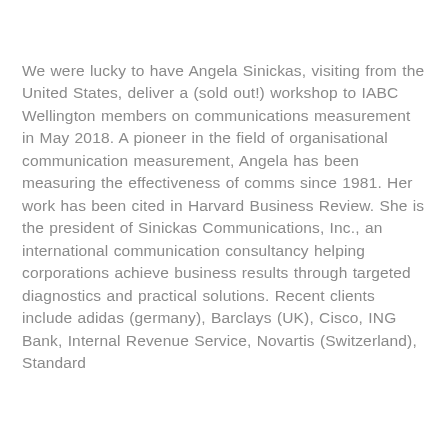We were lucky to have Angela Sinickas, visiting from the United States, deliver a (sold out!) workshop to IABC Wellington members on communications measurement in May 2018. A pioneer in the field of organisational communication measurement, Angela has been measuring the effectiveness of comms since 1981. Her work has been cited in Harvard Business Review. She is the president of Sinickas Communications, Inc., an international communication consultancy helping corporations achieve business results through targeted diagnostics and practical solutions. Recent clients include adidas (germany), Barclays (UK), Cisco, ING Bank, Internal Revenue Service, Novartis (Switzerland), Standard